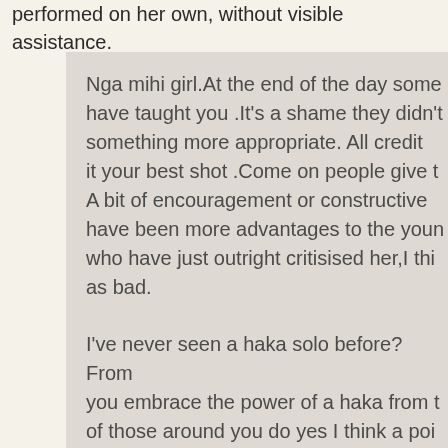performed on her own, without visible assistance.
Nga mihi girl. At the end of the day some have taught you .It's a shame they didn't something more appropriate. All credit it your best shot .Come on people give t A bit of encouragement or constructive have been more advantages to the youn who have just outright critisised her,I thi as bad.
I've never seen a haka solo before? From you embrace the power of a haka from t of those around you do yes I think a poi been the better option but hey good on yourself out there and giving it a go.